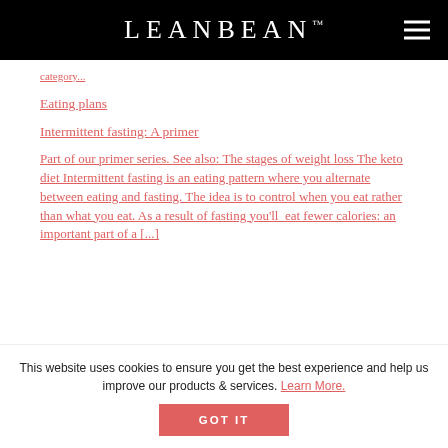LEANBEAN™
Eating plans
Intermittent fasting: A primer
Part of our primer series. See also: The stages of weight loss The keto diet Intermittent fasting is an eating pattern where you alternate between eating and fasting. The idea is to control when you eat rather than what you eat. As a result of fasting you'll eat fewer calories: an important part of a [...]
This website uses cookies to ensure you get the best experience and help us improve our products & services. Learn More. GOT IT